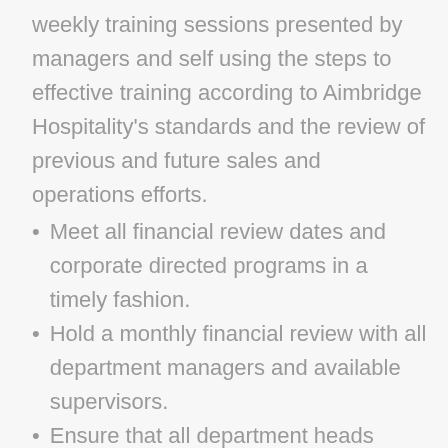weekly training sessions presented by managers and self using the steps to effective training according to Aimbridge Hospitality's standards and the review of previous and future sales and operations efforts.
Meet all financial review dates and corporate directed programs in a timely fashion.
Hold a monthly financial review with all department managers and available supervisors.
Ensure that all department heads maintain budgeted productivity levels and Aimbridge Hospitality's standard checkbook accounting procedures.
Develop managers for future advancement through competency training and corporate sponsored training programs.